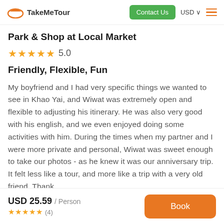TakeMeTour | Contact Us | USD
Park & Shop at Local Market
★★★★★ 5.0
Friendly, Flexible, Fun
My boyfriend and I had very specific things we wanted to see in Khao Yai, and Wiwat was extremely open and flexible to adjusting his itinerary. He was also very good with his english, and we even enjoyed doing some activities with him. During the times when my partner and I were more private and personal, Wiwat was sweet enough to take our photos - as he knew it was our anniversary trip. It felt less like a tour, and more like a trip with a very old friend. Thank
USD 25.59 / Person ★★★★★ (4) | Book